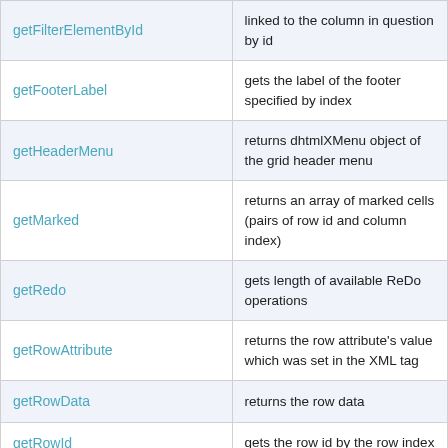| Method | Description |
| --- | --- |
| getFilterElementById | linked to the column in question by id |
| getFooterLabel | gets the label of the footer specified by index |
| getHeaderMenu | returns dhtmlXMenu object of the grid header menu |
| getMarked | returns an array of marked cells (pairs of row id and column index) |
| getRedo | gets length of available ReDo operations |
| getRowAttribute | returns the row attribute's value which was set in the XML tag |
| getRowData | returns the row data |
| getRowId | gets the row id by the row index |
| getRowIndex | gets the row index by the row id (grid only) |
| getRowsNum | returns the number of rows in the grid (in case of dynamic mode it... |